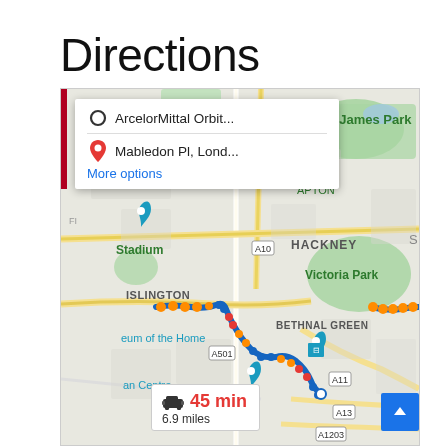Directions
[Figure (screenshot): Google Maps directions screenshot showing a route in London from ArcelorMittal Orbit to Mabledon Pl, London. The map shows areas including Islington, Hackney, Victoria Park, Bethnal Green, St. James Park. The route is highlighted with blue and orange dotted/dashed lines. A popup card shows origin 'ArcelorMittal Orbit...' and destination 'Mabledon Pl, Lond...' with a 'More options' link. A route info box at the bottom shows '45 min' in red and '6.9 miles'. A blue scroll-to-top button appears in the bottom right.]